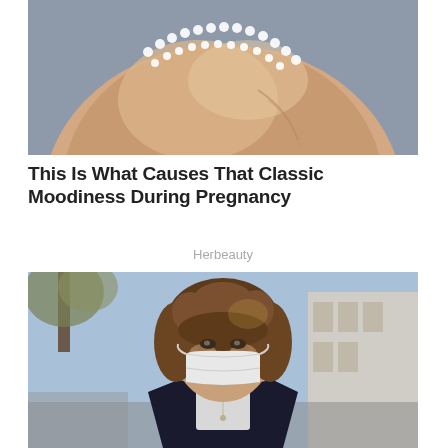[Figure (photo): Close-up photo of a pregnant belly with a pearl necklace laid on the skin, on a blue-grey background]
This Is What Causes That Classic Moodiness During Pregnancy
Herbeauty
[Figure (photo): Young woman with curly hair wearing a white face mask, standing outdoors on a sunny street]